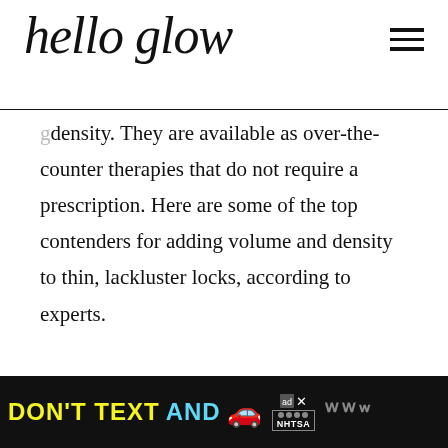hello glow
density. They are available as over-the-counter therapies that do not require a prescription. Here are some of the top contenders for adding volume and density to thin, lackluster locks, according to experts.
[Figure (infographic): Advertisement banner: DON'T TEXT AND [car emoji] with NHTSA logo and ad choices icon]